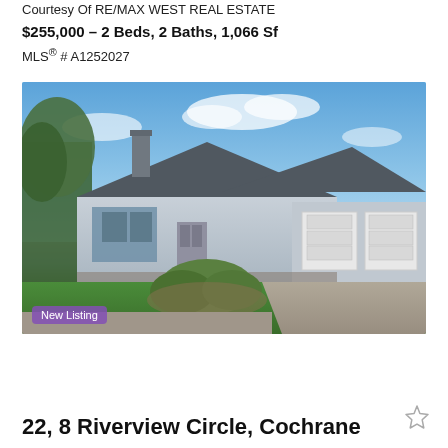Courtesy Of RE/MAX WEST REAL ESTATE
$255,000 – 2 Beds, 2 Baths, 1,066 Sf
MLS® # A1252027
[Figure (photo): Exterior photo of a grey stucco bungalow with double garage, green lawn, and landscaped garden. 'New Listing' badge in bottom left corner.]
22, 8 Riverview Circle, Cochrane